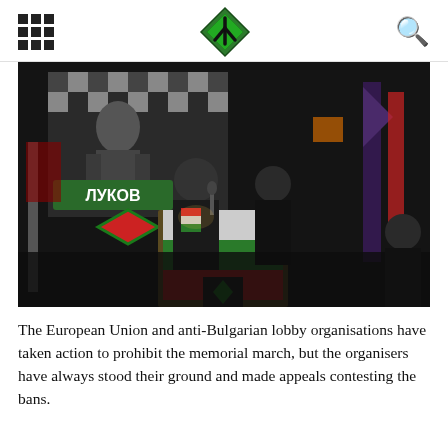Navigation header with grid menu icon, diamond logo, and search icon
[Figure (photo): Nighttime outdoor scene showing men speaking at a podium decorated with a Bulgarian flag (white, green, red stripes) and a dark nationalist emblem. In the background is a large banner depicting a historical military figure with Cyrillic text 'ЛУКОВ' and a green/red/black emblem. People holding flags are visible on both sides.]
The European Union and anti-Bulgarian lobby organisations have taken action to prohibit the memorial march, but the organisers have always stood their ground and made appeals contesting the bans.